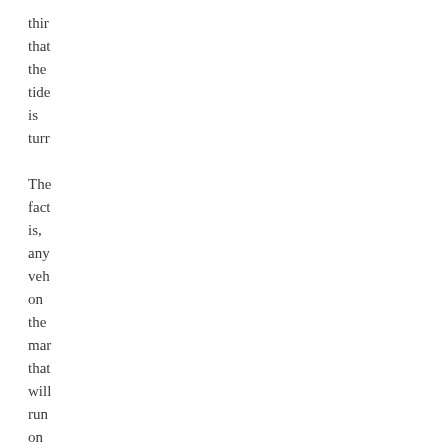thir that the tide is turr The fact is, any veh on the mar that will run on E85 fuel will also